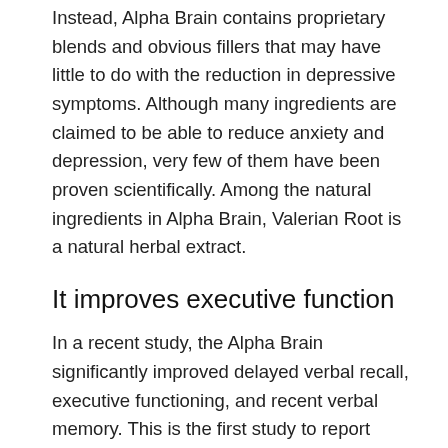Instead, Alpha Brain contains proprietary blends and obvious fillers that may have little to do with the reduction in depressive symptoms. Although many ingredients are claimed to be able to reduce anxiety and depression, very few of them have been proven scientifically. Among the natural ingredients in Alpha Brain, Valerian Root is a natural herbal extract.
It improves executive function
In a recent study, the Alpha Brain significantly improved delayed verbal recall, executive functioning, and recent verbal memory. This is the first study to report such positive results and merits further study. However, it remains to be seen whether Alpha Brain is safe and effective. These are just a few of the potential advantages